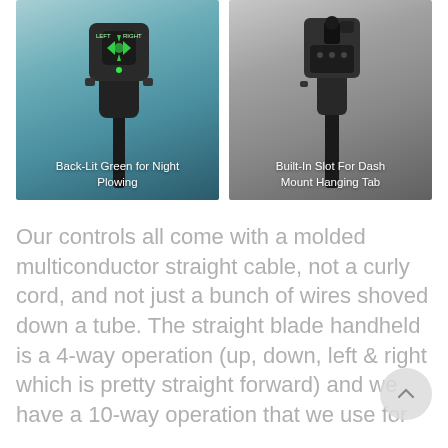[Figure (photo): Two side-by-side product photos of snow plow controller handhelds. Left photo shows a controller with green backlit buttons labeled LEFT and RIGHT, with caption 'Back-Lit Green for Night Plowing'. Right photo shows a controller with a built-in slot at top, with caption 'Built-In Slot For Dash Mount Hanging Tab'. Both controllers are dark/black plastic with a handle stem.]
Our controls all come with a molded multiconductor straight cable, not a curly cord, and not just a bunch of wires shoved down a tube. The straight blade handheld is a 4-way operation (up, down, left & right which is pretty straight forward) and we have a 10-way operation that we use for